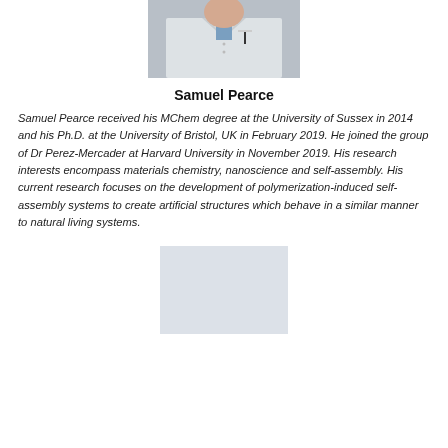[Figure (photo): Photo of Samuel Pearce in a white lab coat, partially visible from chest up]
Samuel Pearce
Samuel Pearce received his MChem degree at the University of Sussex in 2014 and his Ph.D. at the University of Bristol, UK in February 2019. He joined the group of Dr Perez-Mercader at Harvard University in November 2019. His research interests encompass materials chemistry, nanoscience and self-assembly. His current research focuses on the development of polymerization-induced self-assembly systems to create artificial structures which behave in a similar manner to natural living systems.
[Figure (photo): Partially visible photo, light blue-grey background, bottom of page]